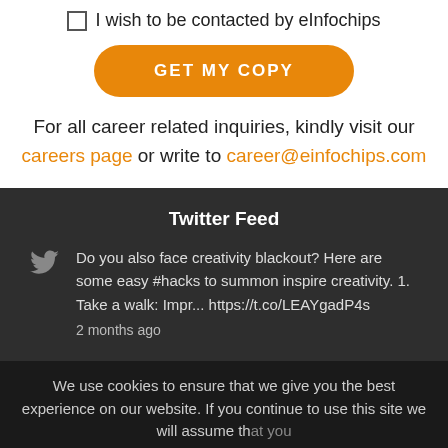I wish to be contacted by eInfochips
GET MY COPY
For all career related inquiries, kindly visit our careers page or write to career@einfochips.com
Twitter Feed
Do you also face creativity blackout? Here are some easy #hacks to summon inspire creativity. 1. Take a walk: Impr... https://t.co/LEAYgadP4s
2 months ago
We use cookies to ensure that we give you the best experience on our website. If you continue to use this site we will assume that you are happy with it.